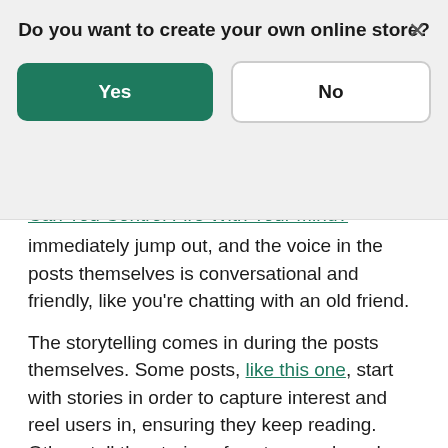Do you want to create your own online store?
Yes
No
Can You Control Fire With Your Mind?
immediately jump out, and the voice in the posts themselves is conversational and friendly, like you're chatting with an old friend.
The storytelling comes in during the posts themselves. Some posts, like this one, start with stories in order to capture interest and reel users in, ensuring they keep reading. Others tell the stories of customers, brand ambassadors, or employees to generate those emotional connections. Their “Moms Go